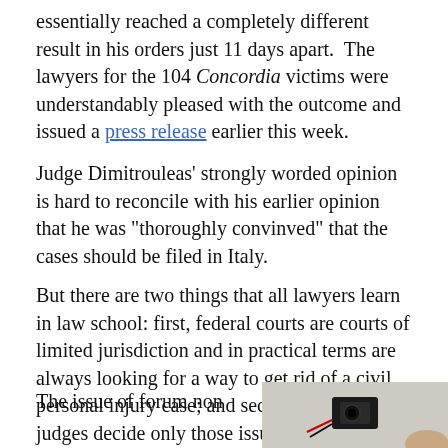essentially reached a completely different result in his orders just 11 days apart.  The lawyers for the 104 Concordia victims were understandably pleased with the outcome and issued a press release earlier this week.
Judge Dimitrouleas' strongly worded opinion is hard to reconcile with his earlier opinion that he was "thoroughly convinved" that the cases should be filed in Italy.
But there are two things that all lawyers learn in law school: first, federal courts are courts of limited jurisdiction and in practical terms are always looking for a way to get rid of a civil personal injury case; and secondly, federal judges decide only those issues squarely before the court.
The issue of forum non
[Figure (photo): A small electronic device or camera component on a light gray background]